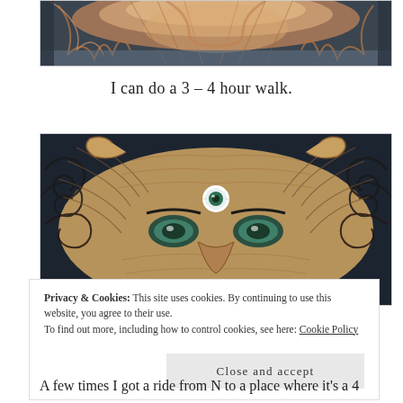[Figure (photo): Top portion of a colorful street mural showing swirling artistic patterns in orange, brown and blue tones — bottom of an owl/animal face mural]
I can do a 3 – 4 hour walk.
[Figure (photo): Street art mural of a mystical owl or cat face with three eyes (one on forehead), swirling feather/fur patterns in orange, white, and black on a dark background]
Privacy & Cookies: This site uses cookies. By continuing to use this website, you agree to their use.
To find out more, including how to control cookies, see here: Cookie Policy
Close and accept
A few times I got a ride from N to a place where it's a 4